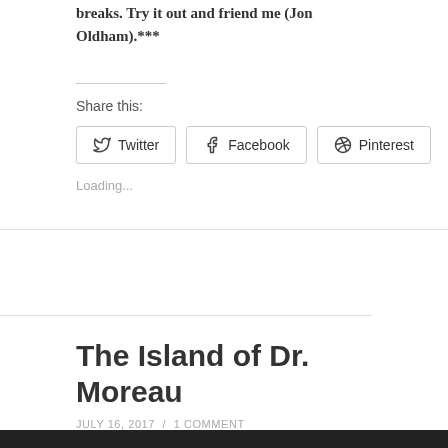breaks. Try it out and friend me (Jon Oldham).***
Share this:
Twitter Facebook Pinterest
Loading...
The Island of Dr. Moreau
JULY 16, 2017 / 1 COMMENT